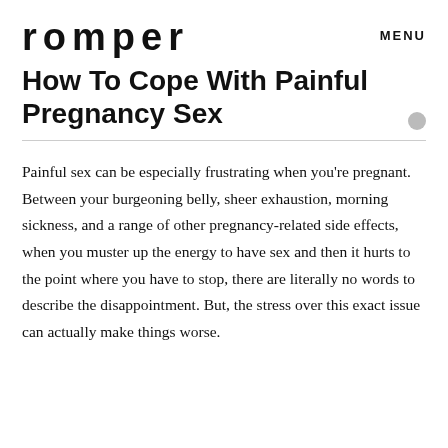romper   MENU
How To Cope With Painful Pregnancy Sex
Painful sex can be especially frustrating when you're pregnant. Between your burgeoning belly, sheer exhaustion, morning sickness, and a range of other pregnancy-related side effects, when you muster up the energy to have sex and then it hurts to the point where you have to stop, there are literally no words to describe the disappointment. But, the stress over this exact issue can actually make things worse.